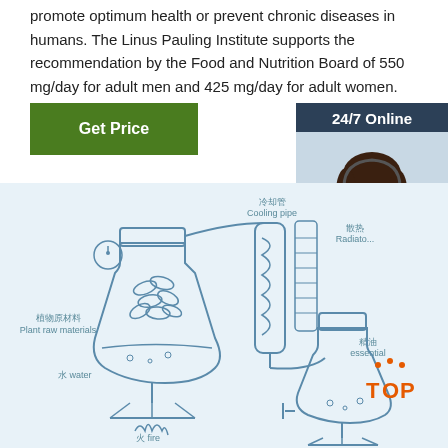promote optimum health or prevent chronic diseases in humans. The Linus Pauling Institute supports the recommendation by the Food and Nutrition Board of 550 mg/day for adult men and 425 mg/day for adult women.
[Figure (other): Green 'Get Price' button]
[Figure (other): 24/7 Online chat widget with customer service representative photo, 'Click here for free chat!' text, and orange QUOTATION button]
[Figure (schematic): Diagram of essential oil extraction process with labeled components in Chinese and English: 植物原材料/Plant raw materials, 冷却管/Cooling pipe, 散热/Radiator, 精油/essential oil, 水 water, 火 fire. Shows distillation apparatus with heating flask, condenser coil, and collection flask.]